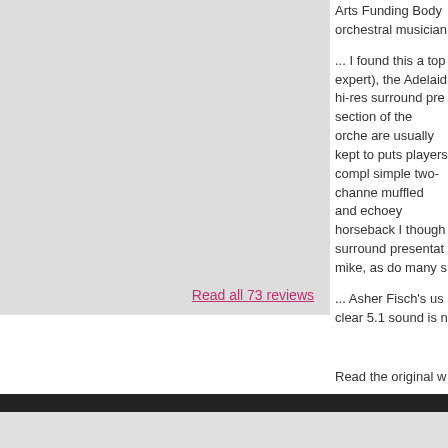[Figure (other): Gray placeholder image panel on the left side]
Read all 73 reviews
Arts Funding Body orchestral musician
... I found this a top expert), the Adelaide hi-res surround pre section of the orche are usually kept to puts players compl simple two-channel muffled and echoey horseback I though surround presentat mike, as do many s
... Asher Fisch's us clear 5.1 sound is n
Read the original w